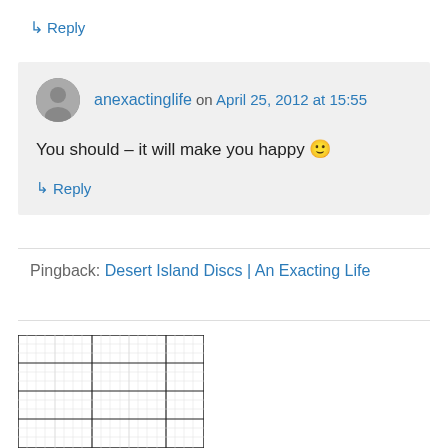↳ Reply
anexactinglife on April 25, 2012 at 15:55
You should – it will make you happy 🙂
↳ Reply
Pingback: Desert Island Discs | An Exacting Life
[Figure (other): A grid/graph paper image partially visible at the bottom of the page]